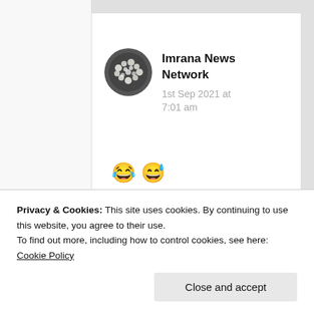[Figure (photo): Circular avatar photo showing white flowers on dark background]
Imrana News Network
1st Sep 2021 at 7:01 am
😂😅
Yes!
He doesn't know the
Privacy & Cookies: This site uses cookies. By continuing to use this website, you agree to their use.
To find out more, including how to control cookies, see here: Cookie Policy
Close and accept